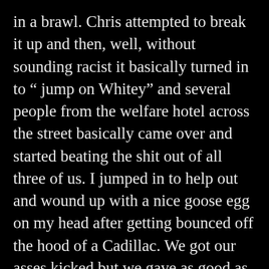in a brawl. Chris attempted to break it up and then, well, without sounding racist it basically turned in to “ jump on Whitey” and several people from the welfare hotel across the street basically came over and started beating the shit out of all three of us. I jumped in to help out and wound up with a nice goose egg on my head after getting bounced off the hood of a Cadillac. We got our asses kicked but we gave as good as they did and I think it was honestly 8-10 guys against the three of us. Eventually the cops showed up and basically said either everybody goes their own way or everybody goes to jail. It was pretty funny until I got home and realized this wasn’t a brawl with the jocks in my High School lunchroom this was the real